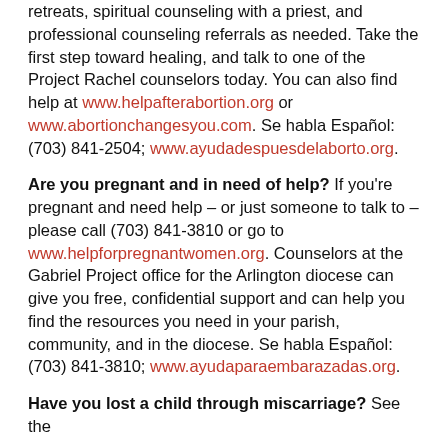retreats, spiritual counseling with a priest, and professional counseling referrals as needed. Take the first step toward healing, and talk to one of the Project Rachel counselors today. You can also find help at www.helpafterabortion.org or www.abortionchangesyou.com. Se habla Español: (703) 841-2504; www.ayudadespuesdelaborto.org.
Are you pregnant and in need of help? If you're pregnant and need help – or just someone to talk to – please call (703) 841-3810 or go to www.helpforpregnantwomen.org. Counselors at the Gabriel Project office for the Arlington diocese can give you free, confidential support and can help you find the resources you need in your parish, community, and in the diocese. Se habla Español: (703) 841-3810; www.ayudaparaembarazadas.org.
Have you lost a child through miscarriage? See the